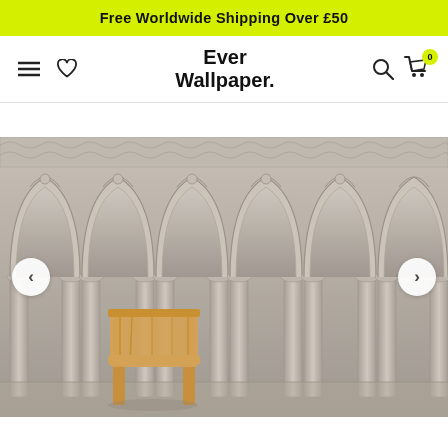Free Worldwide Shipping Over £50
[Figure (logo): Ever Wallpaper. logo with hamburger menu, heart icon, search icon, and cart icon showing 0 items]
[Figure (photo): Gothic stone arch colonnade wallpaper mural with a wooden chair in the foreground, showing ornate pointed arches and columns in grey/beige tones]